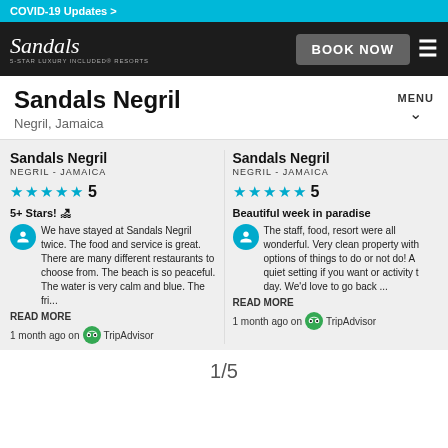COVID-19 Updates >
[Figure (screenshot): Sandals resort website navigation bar with logo, BOOK NOW button and hamburger menu]
Sandals Negril
Negril, Jamaica
Sandals Negril
NEGRIL - JAMAICA
★★★★★ 5
5+ Stars! 🏖
Review text: We have stayed at Sandals Negril twice. The food and service is great. There are many different restaurants to choose from. The beach is so peaceful. The water is very calm and blue. The fri...
1 month ago on TripAdvisor
Sandals Negril
NEGRIL - JAMAICA
★★★★★ 5
Beautiful week in paradise
Review text: The staff, food, resort were all wonderful. Very clean property with options of things to do or not do! A quiet setting if you want or activity the day. We'd love to go back ...
1 month ago on TripAdvisor
1/5